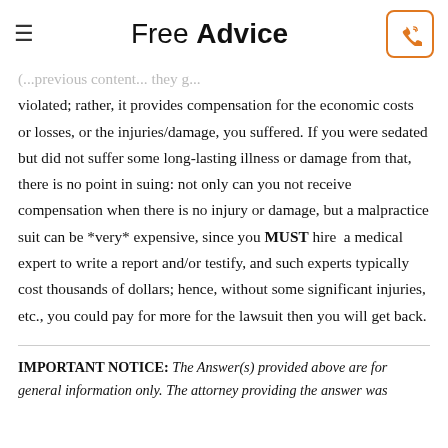Free Advice
violated; rather, it provides compensation for the economic costs or losses, or the injuries/damage, you suffered. If you were sedated but did not suffer some long-lasting illness or damage from that, there is no point in suing: not only can you not receive compensation when there is no injury or damage, but a malpractice suit can be *very* expensive, since you MUST hire a medical expert to write a report and/or testify, and such experts typically cost thousands of dollars; hence, without some significant injuries, etc., you could pay for more for the lawsuit then you will get back.
IMPORTANT NOTICE: The Answer(s) provided above are for general information only. The attorney providing the answer was